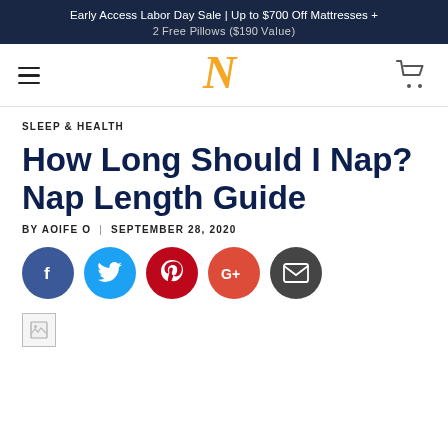Early Access Labor Day Sale | Up to $700 Off Mattresses + 2 Free Pillows ($190 Value)
[Figure (logo): Navigation bar with hamburger menu, golden N logo, and shopping cart icon]
Sleep & Health
How Long Should I Nap? Nap Length Guide
By Aoife O | September 28, 2020
[Figure (infographic): Social sharing buttons: Facebook (blue), Twitter (light blue), Pinterest (red), Google+ (orange-red), Email (dark gray)]
[Figure (photo): Broken image placeholder icon]